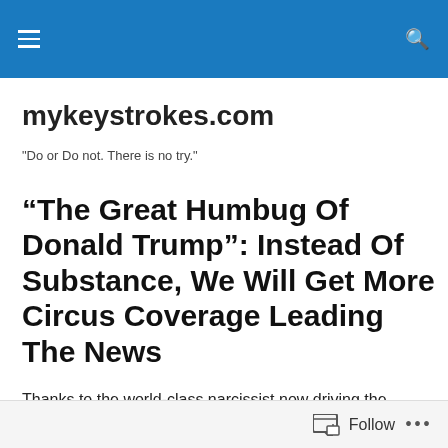mykeystrokes.com navigation bar
mykeystrokes.com
"Do or Do not. There is no try."
“The Great Humbug Of Donald Trump”: Instead Of Substance, We Will Get More Circus Coverage Leading The News
Thanks to the world-class narcissist now driving the Republican clown car, it ought to be clear to
Follow •••